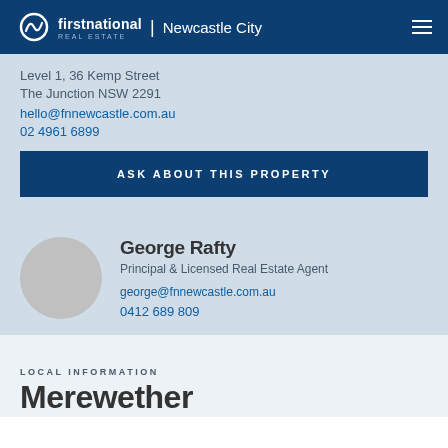first national REAL ESTATE | Newcastle City
Level 1, 36 Kemp Street
The Junction NSW 2291
hello@fnnewcastle.com.au
02 4961 6899
ASK ABOUT THIS PROPERTY
George Rafty
Principal & Licensed Real Estate Agent
george@fnnewcastle.com.au
0412 689 809
LOCAL INFORMATION
Merewether